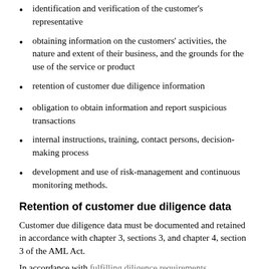identification and verification of the customer's representative
obtaining information on the customers' activities, the nature and extent of their business, and the grounds for the use of the service or product
retention of customer due diligence information
obligation to obtain information and report suspicious transactions
internal instructions, training, contact persons, decision-making process
development and use of risk-management and continuous monitoring methods.
Retention of customer due diligence data
Customer due diligence data must be documented and retained in accordance with chapter 3, sections 3, and chapter 4, section 3 of the AML Act.
In accordance with fulfilling diligence requirements...